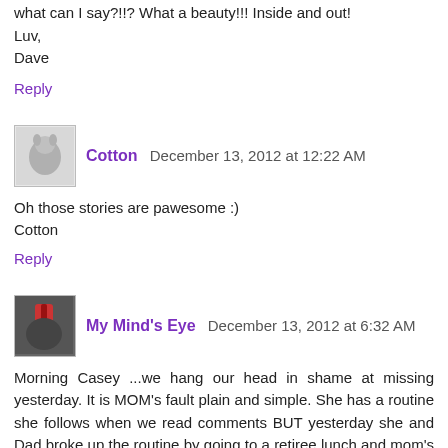what can I say?!!? What a beauty!!! Inside and out!
Luv,
Dave
Reply
Cotton  December 13, 2012 at 12:22 AM
Oh those stories are pawesome :)
Cotton
Reply
My Mind's Eye  December 13, 2012 at 6:32 AM
Morning Casey ...we hang our head in shame at missing yesterday. It is MOM's fault plain and simple. She has a routine she follows when we read comments BUT yesterday she and Dad broke up the routine by going to a retiree lunch and mom's one track mind ran off track
What a very beautiful and heartfelt pose. We were in total disbelief at how you and Cinderella looked in that other life.